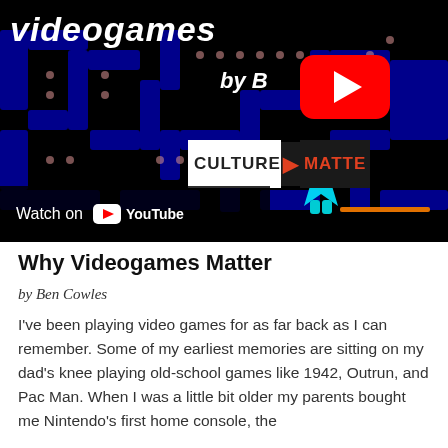[Figure (screenshot): YouTube video thumbnail showing a Pac-Man style maze game screenshot with 'videogames' text in white italic font at the top, 'by B[en C]owles' text partially hidden by YouTube play button, a cyan star character in the lower center, a 'CULTURE MATTERS' logo bar at lower right, and a 'Watch on YouTube' bar at lower left. Black background with dark blue maze walls and small dots.]
Why Videogames Matter
by Ben Cowles
I've been playing video games for as far back as I can remember. Some of my earliest memories are sitting on my dad's knee playing old-school games like 1942, Outrun, and Pac Man. When I was a little bit older my parents bought me Nintendo's first home console, the